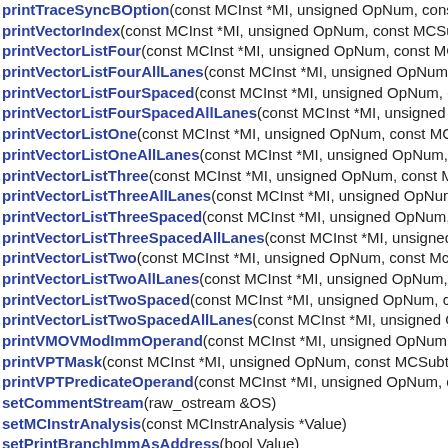printTraceSyncBOption(const MCInst *MI, unsigned OpNum, const M...
printVectorIndex(const MCInst *MI, unsigned OpNum, const MCSubt...
printVectorListFour(const MCInst *MI, unsigned OpNum, const MCS...
printVectorListFourAllLanes(const MCInst *MI, unsigned OpNum, co...
printVectorListFourSpaced(const MCInst *MI, unsigned OpNum, con...
printVectorListFourSpacedAllLanes(const MCInst *MI, unsigned Op...
printVectorListOne(const MCInst *MI, unsigned OpNum, const MCSu...
printVectorListOneAllLanes(const MCInst *MI, unsigned OpNum, co...
printVectorListThree(const MCInst *MI, unsigned OpNum, const MC...
printVectorListThreeAllLanes(const MCInst *MI, unsigned OpNum, ...
printVectorListThreeSpaced(const MCInst *MI, unsigned OpNum, co...
printVectorListThreeSpacedAllLanes(const MCInst *MI, unsigned O...
printVectorListTwo(const MCInst *MI, unsigned OpNum, const McSu...
printVectorListTwoAllLanes(const MCInst *MI, unsigned OpNum, co...
printVectorListTwoSpaced(const MCInst *MI, unsigned OpNum, con...
printVectorListTwoSpacedAllLanes(const MCInst *MI, unsigned Oph...
printVMOVModImmOperand(const MCInst *MI, unsigned OpNum, co...
printVPTMask(const MCInst *MI, unsigned OpNum, const MCSubtarg...
printVPTPredicateOperand(const MCInst *MI, unsigned OpNum, con...
setCommentStream(raw_ostream &OS)
setMCInstrAnalysis(const MCInstrAnalysis *Value)
setPrintBranchImmAsAddress(bool Value)